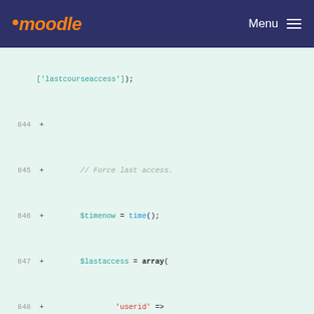moodle  Menu
[Figure (screenshot): Moodle code diff view showing PHP code lines 844-855 with line numbers and + markers on green background]
['lastcourseaccess']);
844 +
845 +         // Force last access.
846 +         $timenow = time();
847 +         $lastaccess = array(
848 +                 'userid' => $expecteduserlist['users'][1]['id'],
849 +                 'courseid' => $data->course->id,
850 +                 'timeaccess' => $timenow
851 +         );
852 +         $DB->insert_record('user_lastaccess', $lastaccess);
853 +
854 +         $result = core_enrol_external::get_enrolled_users_with_capability($parameters, array());
855 +         // We need to execute the